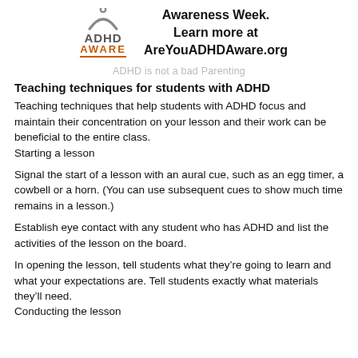[Figure (logo): ADHD Aware logo with arc symbol, grey ADHD text and orange underlined AWARE text]
Awareness Week.
Learn more at
AreYouADHDAware.org
ADHD is not a bad Parenting
Teaching techniques for students with ADHD
Teaching techniques that help students with ADHD focus and maintain their concentration on your lesson and their work can be beneficial to the entire class.
Starting a lesson
Signal the start of a lesson with an aural cue, such as an egg timer, a cowbell or a horn. (You can use subsequent cues to show much time remains in a lesson.)
Establish eye contact with any student who has ADHD and list the activities of the lesson on the board.
In opening the lesson, tell students what they’re going to learn and what your expectations are. Tell students exactly what materials they’ll need.
Conducting the lesson